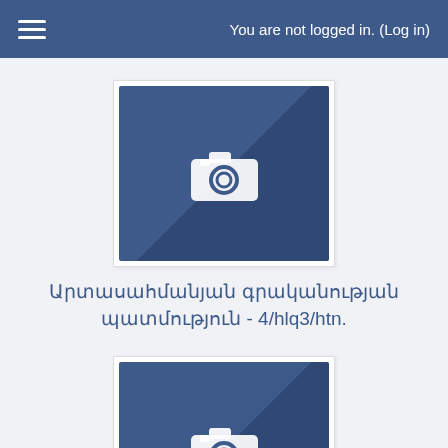You are not logged in. (Log in)
[Figure (illustration): Blue square placeholder image with a white camera icon and shadow overlay]
Արտասահմանյան գրականության պատմություն - 4/hlq3/htn.
[Figure (illustration): Blue square placeholder image with a white camera icon and shadow overlay]